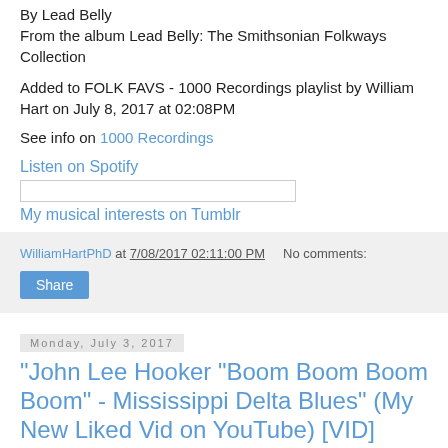By Lead Belly
From the album Lead Belly: The Smithsonian Folkways Collection
Added to FOLK FAVS - 1000 Recordings playlist by William Hart on July 8, 2017 at 02:08PM
See info on 1000 Recordings
Listen on Spotify
My musical interests on Tumblr
WilliamHartPhD at 7/08/2017 02:11:00 PM   No comments:
Share
Monday, July 3, 2017
"John Lee Hooker "Boom Boom Boom Boom" - Mississippi Delta Blues" (My New Liked Vid on YouTube) [VID]